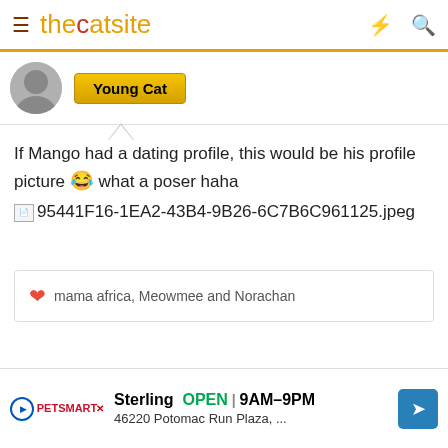thecatsite
Young Cat
If Mango had a dating profile, this would be his profile picture 😂 what a poser haha
📎95441F16-1EA2-43B4-9B26-6C7B6C961125.jpeg
❤ mama africa, Meowmee and Norachan
Sterling  OPEN | 9AM–9PM
46220 Potomac Run Plaza, ...